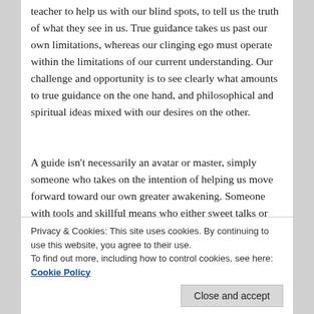teacher to help us with our blind spots, to tell us the truth of what they see in us. True guidance takes us past our own limitations, whereas our clinging ego must operate within the limitations of our current understanding. Our challenge and opportunity is to see clearly what amounts to true guidance on the one hand, and philosophical and spiritual ideas mixed with our desires on the other.
A guide isn't necessarily an avatar or master, simply someone who takes on the intention of helping us move forward toward our own greater awakening. Someone with tools and skillful means who either sweet talks or tricks or keeps busy or knocks about our ego so the doorway to our new understanding is opened. A true guide
So, yes, on the one hand, the only teacher is within.
Privacy & Cookies: This site uses cookies. By continuing to use this website, you agree to their use.
To find out more, including how to control cookies, see here: Cookie Policy